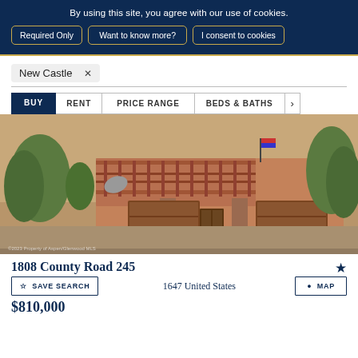By using this site, you agree with our use of cookies.
Required Only | Want to know more? | I consent to cookies
New Castle  x
BUY  RENT  PRICE RANGE  BEDS & BATHS
[Figure (photo): Exterior photo of a southwestern-style home with wooden deck, garage doors, and surrounding trees]
1808 County Road 245
1647 United States
$810,000